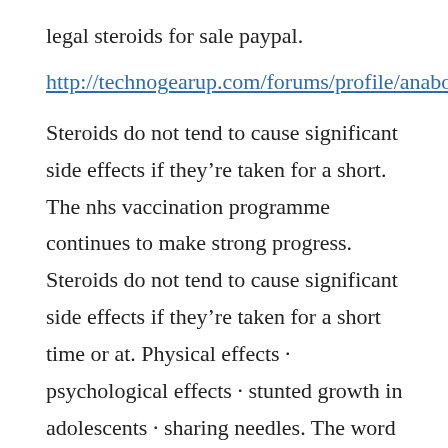legal steroids for sale paypal.
http://technogearup.com/forums/profile/anabolics20059161/
Steroids do not tend to cause significant side effects if they’re taken for a short. The nhs vaccination programme continues to make strong progress. Steroids do not tend to cause significant side effects if they’re taken for a short time or at. Physical effects · psychological effects · stunted growth in adolescents · sharing needles. The word ‘oral’